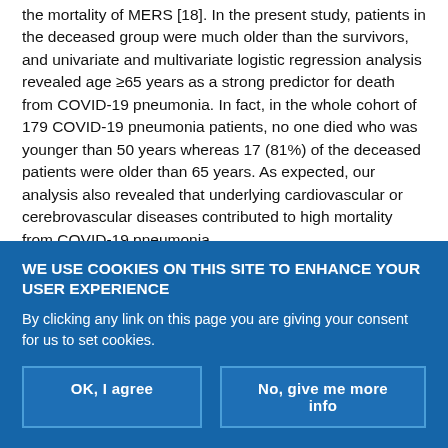the mortality of MERS [18]. In the present study, patients in the deceased group were much older than the survivors, and univariate and multivariate logistic regression analysis revealed age ≥65 years as a strong predictor for death from COVID-19 pneumonia. In fact, in the whole cohort of 179 COVID-19 pneumonia patients, no one died who was younger than 50 years whereas 17 (81%) of the deceased patients were older than 65 years. As expected, our analysis also revealed that underlying cardiovascular or cerebrovascular diseases contributed to high mortality from COVID-19 pneumonia.
It has been demonstrated that inactivated SARS-CoV elicits an antigen-specific recall cytotoxic T-lymphocyte response in peripheral
WE USE COOKIES ON THIS SITE TO ENHANCE YOUR USER EXPERIENCE
By clicking any link on this page you are giving your consent for us to set cookies.
OK, I agree
No, give me more info